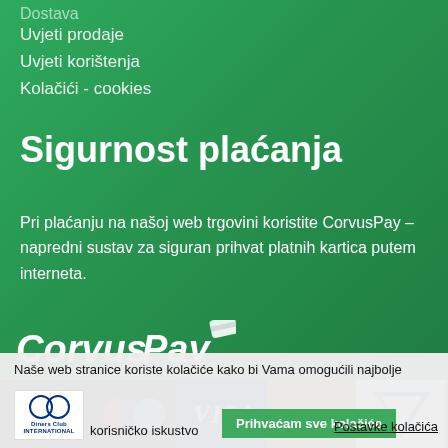Dostava
Uvjeti prodaje
Uvjeti korištenja
Kolačići - cookies
Sigurnost plaćanja
Pri plaćanju na našoj web trgovini koristite CorvusPay – napredni sustav za siguran prihvat platnih kartica putem interneta.
[Figure (logo): CorvusPay Internet Payment Gateway logo in white]
[Figure (other): Payment card logos: Mastercard, Maestro, Visa, Diners, Vee card]
Naše web stranice koriste kolačiće kako bi Vama omogućili najbolje korisničko iskustvo
Prihvaćam sve kolačiće
Postavke kolačića